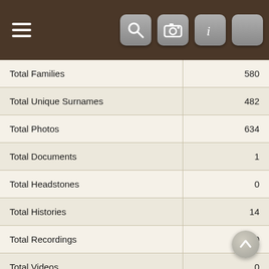Navigation bar with hamburger menu and icons
| Category | Value |
| --- | --- |
| Total Families | 580 |
| Total Unique Surnames | 482 |
| Total Photos | 634 |
| Total Documents | 1 |
| Total Headstones | 0 |
| Total Histories | 14 |
| Total Recordings | 0 |
| Total Videos | 0 |
| Total Sources | 9 |
| Average Lifespan¹ | 62 years, 309 days |
| Earliest Birth (John BLOOD) | 10 Nov 1759 |